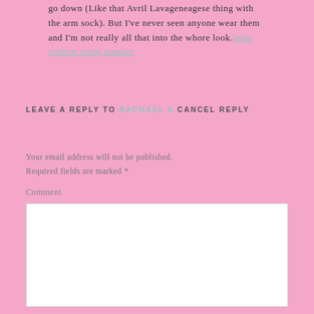go down (Like that Avril Lavageneagese thing with the arm sock). But I've never seen anyone wear them and I'm not really all that into the whore look. louis vuitton serial number
LEAVE A REPLY TO RACHAEL S CANCEL REPLY
Your email address will not be published. Required fields are marked *
Comment